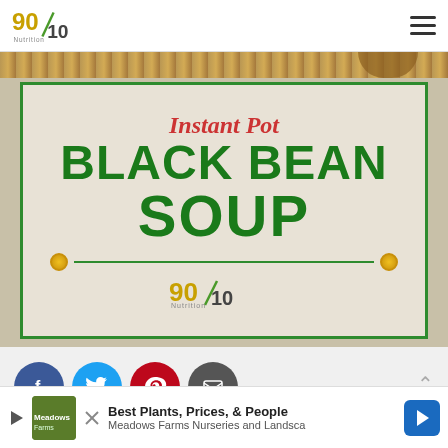90/10 Nutrition
[Figure (illustration): Instant Pot Black Bean Soup recipe title card with green border, red italic 'Instant Pot' text, large bold green 'BLACK BEAN SOUP' text, decorative line with gold circles, and 90/10 Nutrition logo. Background shows rope/brown texture at top.]
Clean Eating Tips, Recipe
black bean soup, clean eating, clean
Best Plants, Prices, & People
Meadows Farms Nurseries and Landscape